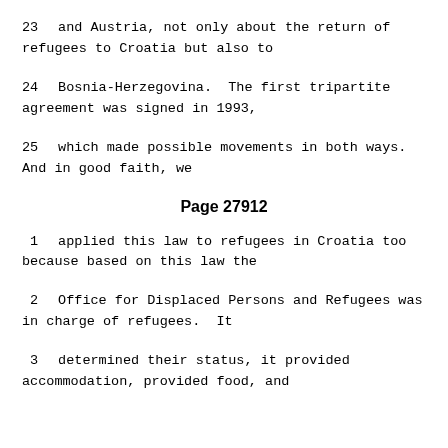23    and Austria, not only about the return of refugees to Croatia but also to
24    Bosnia-Herzegovina.  The first tripartite agreement was signed in 1993,
25    which made possible movements in both ways. And in good faith, we
Page 27912
1    applied this law to refugees in Croatia too because based on this law the
2    Office for Displaced Persons and Refugees was in charge of refugees.  It
3    determined their status, it provided accommodation, provided food, and